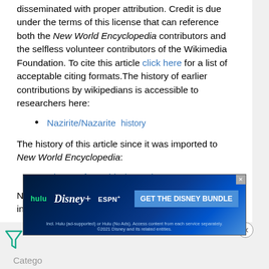disseminated with proper attribution. Credit is due under the terms of this license that can reference both the New World Encyclopedia contributors and the selfless volunteer contributors of the Wikimedia Foundation. To cite this article click here for a list of acceptable citing formats.The history of earlier contributions by wikipedians is accessible to researchers here:
Nazirite/Nazarite  history
The history of this article since it was imported to New World Encyclopedia:
History of "Nazirite/Nazarite"
Note: Some restrictions may apply to use of individual images which are separately licensed.
[Figure (other): Hulu, Disney+, ESPN+ advertisement banner: GET THE DISNEY BUNDLE. Incl. Hulu (ad-supported) or Hulu (No Ads). Access content from each service separately. ©2021 Disney and its related entities.]
Catego...